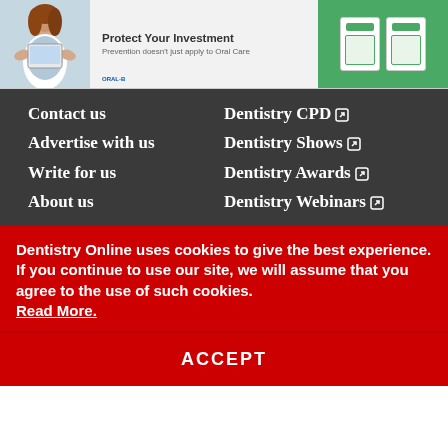[Figure (illustration): Advertisement banner: 'Protect Your Investment – Prevention doesn't just apply to Oral Care' with a woman illustration on the left and dental product boxes on a green background on the right.]
Contact us
Dentistry CPD [external link icon]
Advertise with us
Dentistry Shows [external link icon]
Write for us
Dentistry Awards [external link icon]
About us
Dentistry Webinars [external link icon]
Dentistry Online uses cookies to give the best experience. If you continue to use our site, we will assume that you agree to the use of such cookies. Read More.
ACCEPT